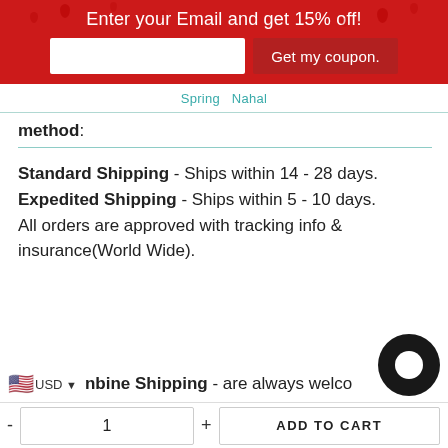Enter your Email and get 15% off!
Spring  Nahal
method:
Standard Shipping - Ships within 14 - 28 days.
Expedited Shipping - Ships within 5 - 10 days.
All orders are approved with tracking info & insurance(World Wide).
nbine Shipping - are always welco...
- 1 + ADD TO CART